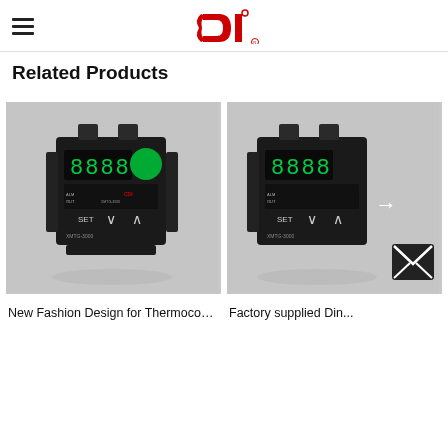CDI logo and navigation
Related Products
[Figure (photo): Black digital temperature controller/thermocouple device (XMTG-3000 series) on gray background]
New Fashion Design for Thermocouple T...
[Figure (photo): Black digital temperature controller device on gray background with right arrow overlay]
Factory supplied Din...